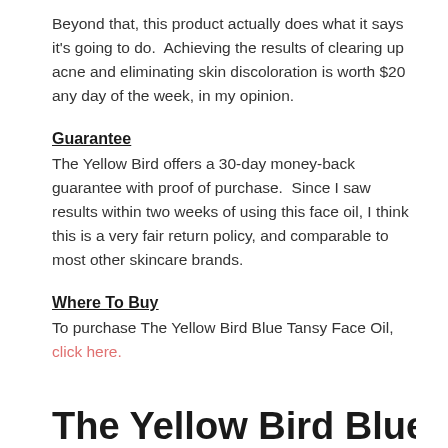Beyond that, this product actually does what it says it's going to do.  Achieving the results of clearing up acne and eliminating skin discoloration is worth $20 any day of the week, in my opinion.
Guarantee
The Yellow Bird offers a 30-day money-back guarantee with proof of purchase.  Since I saw results within two weeks of using this face oil, I think this is a very fair return policy, and comparable to most other skincare brands.
Where To Buy
To purchase The Yellow Bird Blue Tansy Face Oil, click here.
The Yellow Bird Blue T…